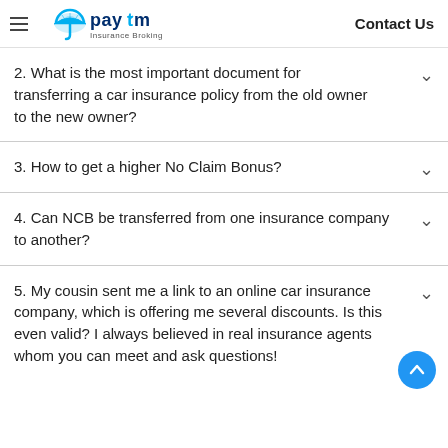Paytm Insurance Broking | Contact Us
2. What is the most important document for transferring a car insurance policy from the old owner to the new owner?
3. How to get a higher No Claim Bonus?
4. Can NCB be transferred from one insurance company to another?
5. My cousin sent me a link to an online car insurance company, which is offering me several discounts. Is this even valid? I always believed in real insurance agents whom you can meet and ask questions!